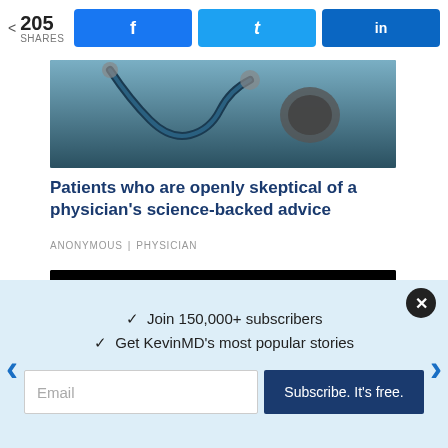205 SHARES | Facebook | Twitter | LinkedIn
[Figure (photo): Stethoscope on dark background, top portion of article image]
Patients who are openly skeptical of a physician’s science-backed advice
ANONYMOUS | PHYSICIAN
[Figure (photo): Dark image with blurry white face/mask emerging from black background]
✓ Join 150,000+ subscribers
✓ Get KevinMD’s most popular stories
Email | Subscribe. It’s free.